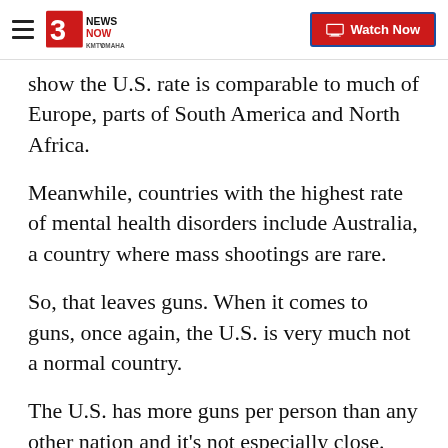3 News Now KMTV Omaha | Watch Now
show the U.S. rate is comparable to much of Europe, parts of South America and North Africa.
Meanwhile, countries with the highest rate of mental health disorders include Australia, a country where mass shootings are rare.
So, that leaves guns. When it comes to guns, once again, the U.S. is very much not a normal country.
The U.S. has more guns per person than any other nation and it's not especially close. The nation has more than twice as many guns per capita as the next country, which is Yemen.
Look at it this way: With 393 million firearms owned